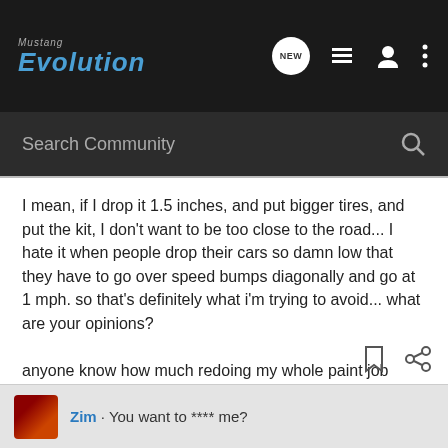[Figure (logo): Mustang Evolution logo in top navigation bar with dark background]
Search Community
I mean, if I drop it 1.5 inches, and put bigger tires, and put the kit, I don't want to be too close to the road... I hate it when people drop their cars so damn low that they have to go over speed bumps diagonally and go at 1 mph. so that's definitely what i'm trying to avoid... what are your opinions?

anyone know how much redoing my whole paint job would run me?

Thanks!
Zim · You want to **** me?